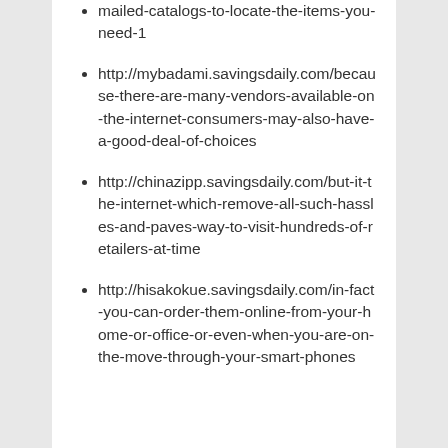mailed-catalogs-to-locate-the-items-you-need-1
http://mybadami.savingsdaily.com/because-there-are-many-vendors-available-on-the-internet-consumers-may-also-have-a-good-deal-of-choices
http://chinazipp.savingsdaily.com/but-it-the-internet-which-remove-all-such-hassles-and-paves-way-to-visit-hundreds-of-retailers-at-time
http://hisakokue.savingsdaily.com/in-fact-you-can-order-them-online-from-your-home-or-office-or-even-when-you-are-on-the-move-through-your-smart-phones